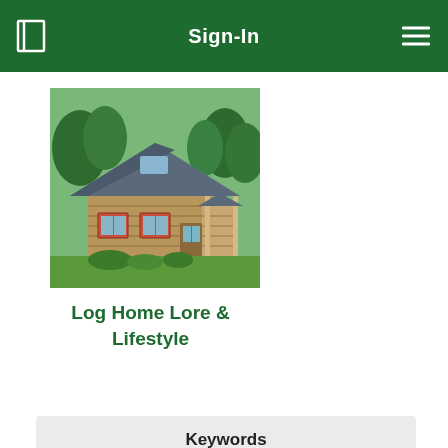Sign-In
[Figure (photo): Photograph of a rustic log home with a metal roof, red-trimmed windows, covered porch, surrounded by green trees and landscaping]
Log Home Lore & Lifestyle
Keywords